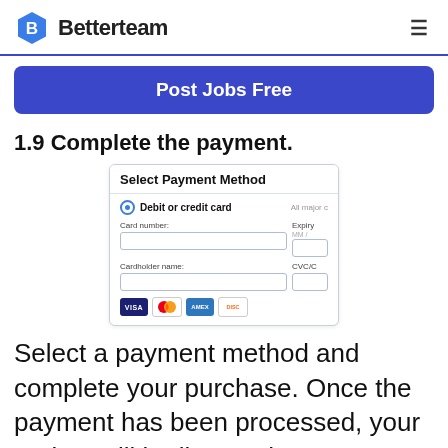Betterteam
[Figure (screenshot): Blue 'Post Jobs Free' button]
1.9 Complete the payment.
[Figure (screenshot): Select Payment Method UI showing debit or credit card fields with Card number, Expiry, Cardholder name, CVC fields and card brand icons (Visa, Mastercard, Amex, Discover)]
Select a payment method and complete your purchase. Once the payment has been processed, your project will be live on the